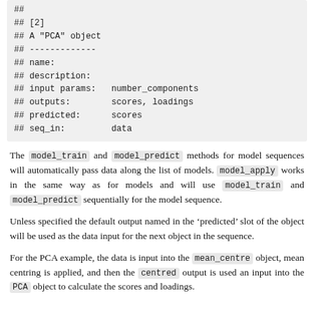[Figure (screenshot): Code block showing PCA object properties: ## [2], ## A "PCA" object, ## -------------, ## name:, ## description:, ## input params: number_components, ## outputs: scores, loadings, ## predicted: scores, ## seq_in: data]
The model_train and model_predict methods for model sequences will automatically pass data along the list of models. model_apply works in the same way as for models and will use model_train and model_predict sequentially for the model sequence.
Unless specified the default output named in the ‘predicted’ slot of the object will be used as the data input for the next object in the sequence.
For the PCA example, the data is input into the mean_centre object, mean centring is applied, and then the centred output is used an input into the PCA object to calculate the scores and loadings.